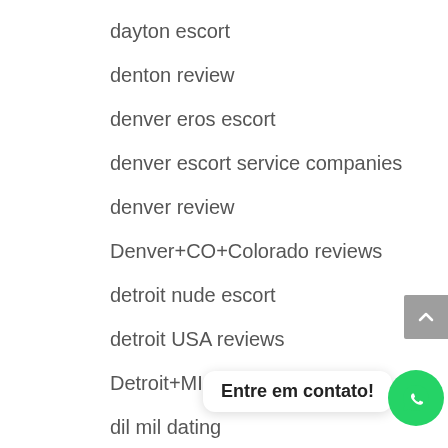dayton escort
denton review
denver eros escort
denver escort service companies
denver review
Denver+CO+Colorado reviews
detroit nude escort
detroit USA reviews
Detroit+MI+Michigan review
dil mil dating
Dil Mil frauen a…
dil mil it review
Dil Mil re…
Entre em contato!